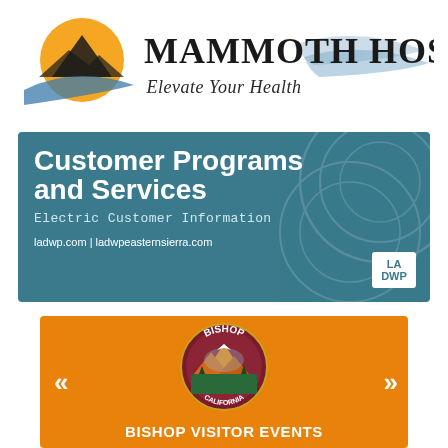[Figure (logo): Mammoth Hospital logo with sun/mountain graphic, text 'Mammoth Hospital' and tagline 'Elevate Your Health']
[Figure (infographic): LADWP advertisement banner in teal/blue color. Title: 'Customer Programs and Services', subtitle: 'Electric Customer Information', URL: 'ladwp.com | ladwpeasternsierra.com', with LA DWP logo box in bottom right and swirl topographic pattern.]
[Figure (infographic): Bishop California Visitor Events banner in orange. Features Bishop California circular logo/seal in center, double left angle brackets on left, double right angle brackets on right, text 'BISHOP VISITOR EVENTS' at bottom.]